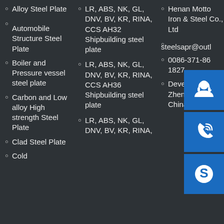Alloy Steel Plate
Automobile Structure Steel Plate
Boiler and Pressure vessel steel plate
Carbon and Low alloy High strength Steel Plate
Clad Steel Plate
Cold
LR, ABS, NK, GL, DNV, BV, KR, RINA, CCS AH32 Shipbuilding steel plate
LR, ABS, NK, GL, DNV, BV, KR, RINA, CCS AH36 Shipbuilding steel plate
LR, ABS, NK, GL, DNV, BV, KR, RINA,
Henan Motto Iron & Steel Co., Ltd
steelsapr@outl...
0086-371-86... 1827
Development... Zhengzhou, China
[Figure (infographic): Three blue icon boxes stacked vertically on the right side: 1) customer service headset icon, 2) phone with signal waves icon, 3) Skype logo icon]